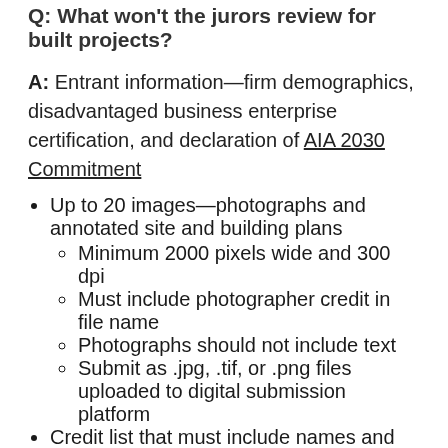Q: What won't the jurors review for built projects?
A: Entrant information—firm demographics, disadvantaged business enterprise certification, and declaration of AIA 2030 Commitment
Up to 20 images—photographs and annotated site and building plans
Minimum 2000 pixels wide and 300 dpi
Must include photographer credit in file name
Photographs should not include text
Submit as .jpg, .tif, or .png files uploaded to digital submission platform
Credit list that must include names and locations